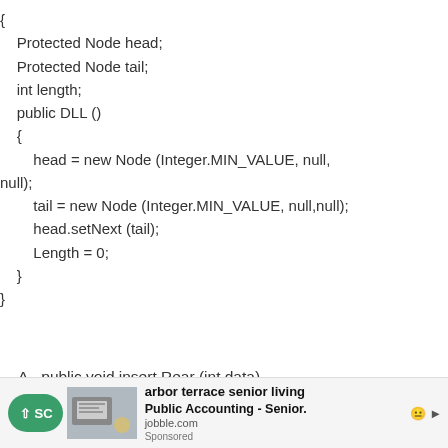{
    Protected Node head;
    Protected Node tail;
    int length;
    public DLL ()
    {
        head = new Node (Integer.MIN_VALUE, null,
null);
        tail = new Node (Integer.MIN_VALUE, null,null);
        head.setNext (tail);
        Length = 0;
    }
}
A.  public void insert Rear (int data)
Advertisement: arbor terrace senior living - Public Accounting - Senior. jobble.com (Sponsored)